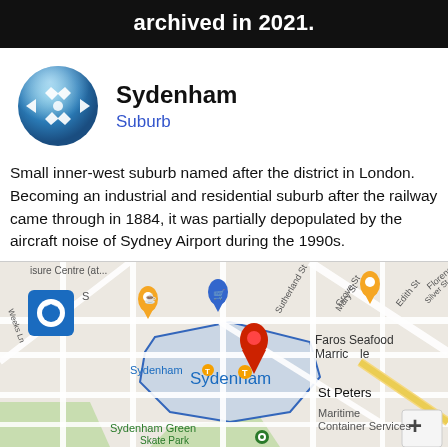archived in 2021.
Sydenham
Suburb
Small inner-west suburb named after the district in London. Becoming an industrial and residential suburb after the railway came through in 1884, it was partially depopulated by the aircraft noise of Sydney Airport during the 1990s.
[Figure (map): Google Maps view of Sydenham suburb in Sydney, showing nearby landmarks including Faros Seafood Marrickville, Sydenham Green, Container Services, St Peters, with the Sydenham suburb boundary highlighted in blue and a red location pin.]